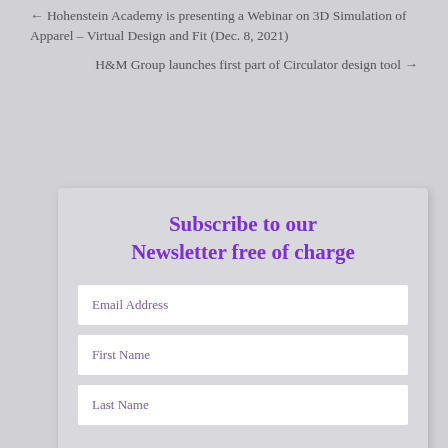← Hohenstein Academy is presenting a Webinar on 3D Simulation of Apparel – Virtual Design and Fit (Dec. 8, 2021)
H&M Group launches first part of Circulator design tool →
Subscribe to our Newsletter free of charge
Email Address
First Name
Last Name